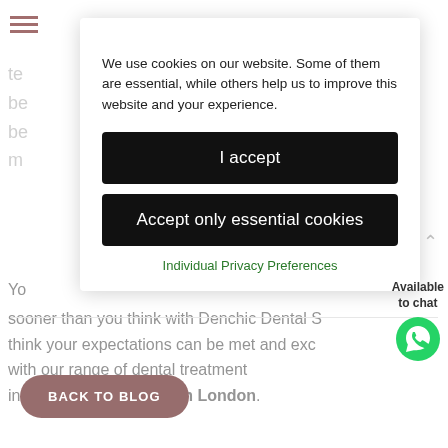[Figure (screenshot): Cookie consent overlay on a dental clinic website. The overlay contains cookie usage text, an 'I accept' button, an 'Accept only essential cookies' button, and an 'Individual Privacy Preferences' link in green. Behind the overlay, partial page text is visible about Denchic Dental Spa and braces in North London. A WhatsApp chat widget appears on the right with 'Available to chat' text. A 'BACK TO BLOG' button appears at the bottom left.]
We use cookies on our website. Some of them are essential, while others help us to improve this website and your experience.
I accept
Accept only essential cookies
Individual Privacy Preferences
sooner than you think with Denchic Dental Sp think your expectations can be met and exc with our range of dental treatment including braces in North London.
Available to chat
BACK TO BLOG